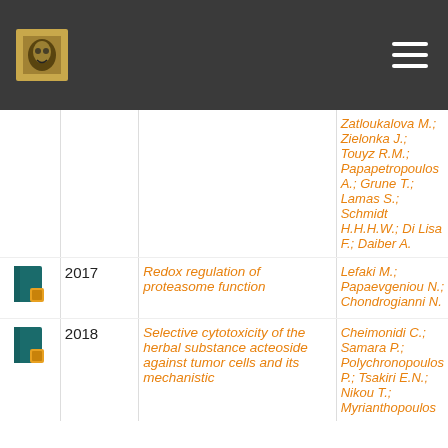|  | Year | Title | Authors |
| --- | --- | --- | --- |
|  |  |  | Zatloukalova M.; Zielonka J.; Touyz R.M.; Papapetropoulos A.; Grune T.; Lamas S.; Schmidt H.H.H.W.; Di Lisa F.; Daiber A. |
|  | 2017 | Redox regulation of proteasome function | Lefaki M.; Papaevgeniou N.; Chondrogianni N. |
|  | 2018 | Selective cytotoxicity of the herbal substance acteoside against tumor cells and its mechanistic | Cheimonidi C.; Samara P.; Polychronopoulos P.; Tsakiri E.N.; Nikou T.; Myrianthopoulos |